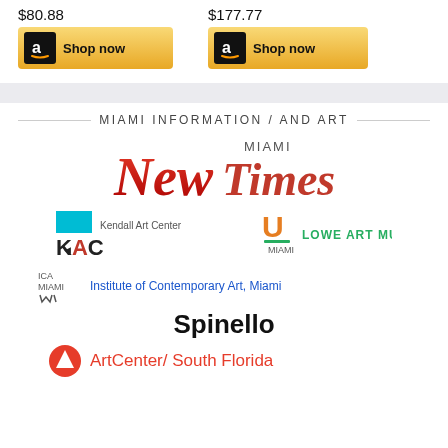$80.88
$177.77
[Figure (screenshot): Two Amazon 'Shop now' buttons side by side, gold/yellow colored with Amazon logo]
MIAMI INFORMATION / AND ART
[Figure (logo): Miami New Times logo in red and black]
[Figure (logo): Kendall Art Center (KAC) logo with cyan square]
[Figure (logo): University of Miami / Lowe Art Museum logo in orange and green]
[Figure (logo): ICA Miami - Institute of Contemporary Art, Miami logo with blue text]
[Figure (logo): Spinello gallery logo in bold black text]
[Figure (logo): ArtCenter/South Florida logo with red circular icon]